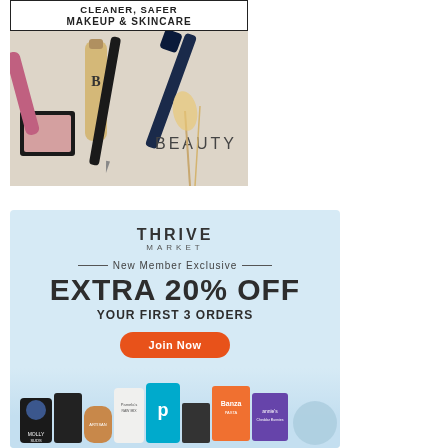[Figure (photo): Advertisement for cleaner, safer makeup and skincare — banner text over photo of cosmetics products including mascara, foundation, lip color, blush, and eyeliner arranged on a light surface with the word BEAUTY visible]
[Figure (infographic): Thrive Market advertisement on light blue background. Text: THRIVE MARKET logo, — New Member Exclusive —, EXTRA 20% OFF, YOUR FIRST 3 ORDERS, Join Now button (orange), product photos of groceries at bottom]